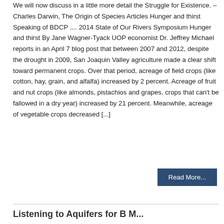We will now discuss in a little more detail the Struggle for Existence. – Charles Darwin, The Origin of Species Articles Hunger and thirst Speaking of BDCP .... 2014 State of Our Rivers Symposium Hunger and thirst By Jane Wagner-Tyack UOP economist Dr. Jeffrey Michael reports in an April 7 blog post that between 2007 and 2012, despite the drought in 2009, San Joaquin Valley agriculture made a clear shift toward permanent crops. Over that period, acreage of field crops (like cotton, hay, grain, and alfalfa) increased by 2 percent. Acreage of fruit and nut crops (like almonds, pistachios and grapes, crops that can't be fallowed in a dry year) increased by 21 percent. Meanwhile, acreage of vegetable crops decreased [...]
Read More...
Listening to Aquifers for B M...